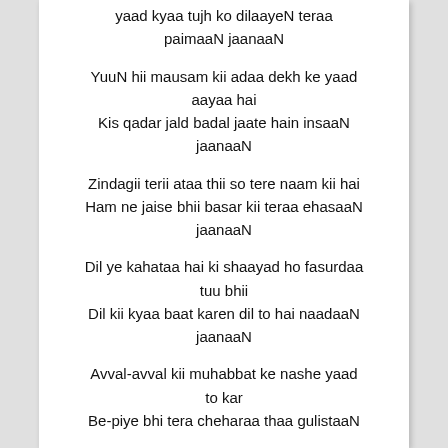yaad kyaa tujh ko dilaayeN teraa paimaaN jaanaaN
YuuN hii mausam kii adaa dekh ke yaad aayaa hai
Kis qadar jald badal jaate hain insaaN jaanaaN
Zindagii terii ataa thii so tere naam kii hai
Ham ne jaise bhii basar kii teraa ehasaaN jaanaaN
Dil ye kahataa hai ki shaayad ho fasurdaa tuu bhii
Dil kii kyaa baat karen dil to hai naadaaN jaanaaN
Avval-avval kii muhabbat ke nashe yaad to kar
Be-piye bhi tera cheharaa thaa gulistaaN